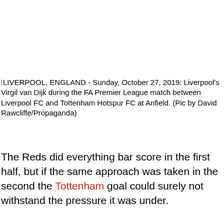LIVERPOOL, ENGLAND - Sunday, October 27, 2019: Liverpool's Virgil van Dijk during the FA Premier League match between Liverpool FC and Tottenham Hotspur FC at Anfield. (Pic by David Rawcliffe/Propaganda)
The Reds did everything bar score in the first half, but if the same approach was taken in the second the Tottenham goal could surely not withstand the pressure it was under.